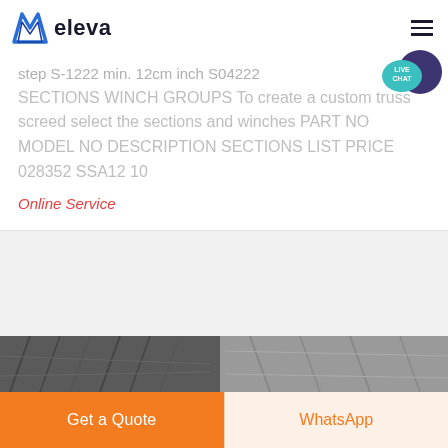eleva
SECTIONS WINCH GROUPS To create a custom truss screed select the sections and winches PART NO MODEL NO DESCRIPTION SECTIONS LIST PRICE 028352 SSA12 10
Online Service
[Figure (photo): Industrial/construction machinery photo strip at bottom of page]
Get a Quote
WhatsApp